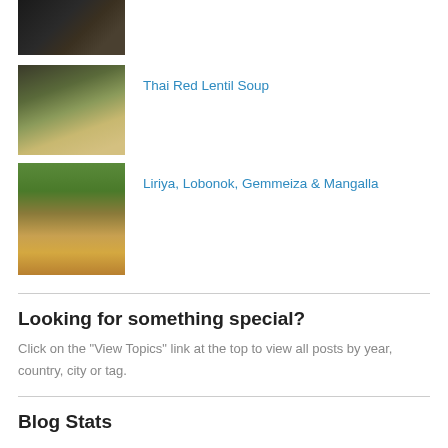[Figure (photo): Partial food photo at top, dark tones, appears to be grilled or cooked food]
[Figure (photo): Bowl of Thai Red Lentil Soup, creamy light-colored soup in a dark bowl with green herb garnish]
Thai Red Lentil Soup
[Figure (photo): Landscape showing trees and sandy/dusty ground with a figure, representing Liriya, Lobonok, Gemmeiza & Mangalla]
Liriya, Lobonok, Gemmeiza & Mangalla
Looking for something special?
Click on the "View Topics" link at the top to view all posts by year, country, city or tag.
Blog Stats